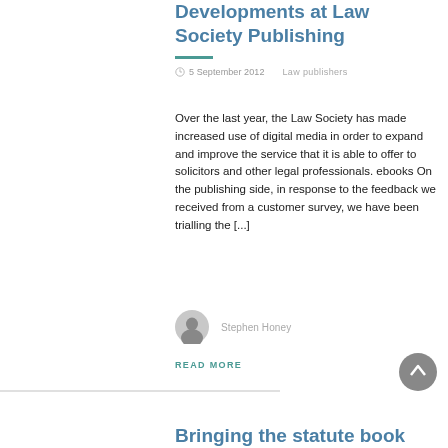Developments at Law Society Publishing
5 September 2012   Law publishers
Over the last year, the Law Society has made increased use of digital media in order to expand and improve the service that it is able to offer to solicitors and other legal professionals. ebooks On the publishing side, in response to the feedback we received from a customer survey, we have been trialling the [...]
Stephen Honey
READ MORE
Bringing the statute book